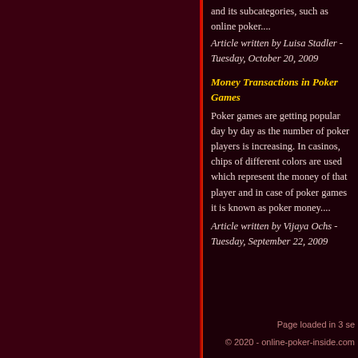and its subcategories, such as online poker....
Article written by Luisa Stadler - Tuesday, October 20, 2009
Money Transactions in Poker Games
Poker games are getting popular day by day as the number of poker players is increasing. In casinos, chips of different colors are used which represent the money of that player and in case of poker games it is known as poker money....
Article written by Vijaya Ochs - Tuesday, September 22, 2009
Page loaded in 3 se
© 2020 - online-poker-inside.com